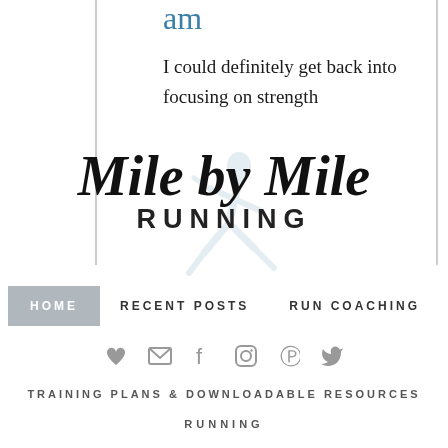am
I could definitely get back into focusing on strength
[Figure (logo): Mile by Mile Running logo with script text and runner silhouette watermark]
HOME   RECENT POSTS   RUN COACHING
[Figure (infographic): Social media icons: heart, email, facebook, instagram, pinterest, twitter]
TRAINING PLANS & DOWNLOADABLE RESOURCES
RUNNING